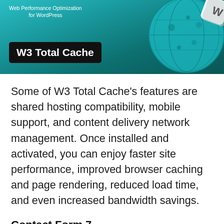[Figure (illustration): W3 Total Cache plugin banner with teal/dark globe graphic and white bold text label on black background reading 'W3 Total Cache', with smaller text above reading 'Web Performance Optimization for WordPress']
Some of W3 Total Cache's features are shared hosting compatibility, mobile support, and content delivery network management. Once installed and activated, you can enjoy faster site performance, improved browser caching and page rendering, reduced load time, and even increased bandwidth savings.
Contact Form 7
A website is not complete without a contact form. Contact Form 7 helps developers and